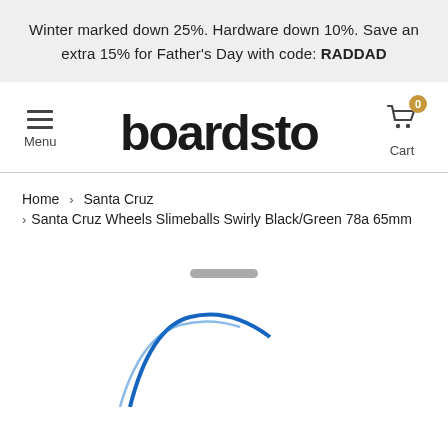Winter marked down 25%. Hardware down 10%. Save an extra 15% for Father's Day with code: RADDAD
[Figure (logo): Boardstore logo with hamburger menu icon and shopping cart with 0 badge]
Home > Santa Cruz > Santa Cruz Wheels Slimeballs Swirly Black/Green 78a 65mm
[Figure (photo): Partial product photo of Santa Cruz Wheels Slimeballs Swirly Black/Green 78a 65mm, partially cut off at bottom of page]